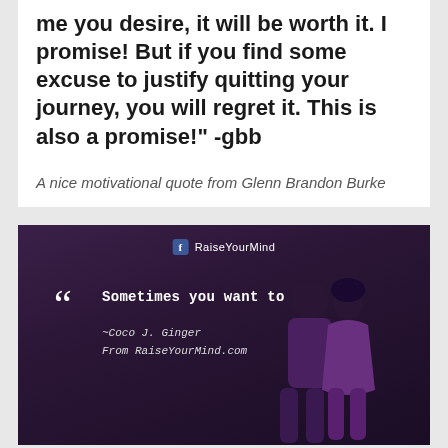me you desire, it will be worth it. I promise! But if you find some excuse to justify quitting your journey, you will regret it. This is also a promise!" -gbb
A nice motivational quote from Glenn Brandon Burke
[Figure (photo): Dark purple gradient background image with Facebook 'RaiseYourMind' branding at top, large opening quotation marks, text 'Sometimes you want to say,' in monospace font, attribution to Coco J. Ginger and RaiseYourMind.com, with a silhouette of a couple kissing in the lower right corner.]